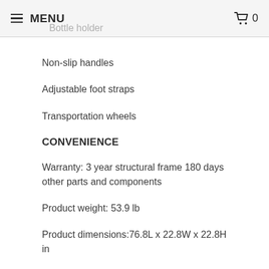MENU  0
Bottle holder
Non-slip handles
Adjustable foot straps
Transportation wheels
CONVENIENCE
Warranty: 3 year structural frame 180 days other parts and components
Product weight: 53.9 lb
Product dimensions:76.8L x 22.8W x 22.8H in